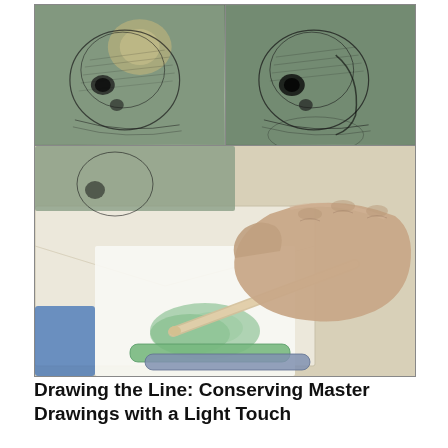[Figure (photo): Three photographs: top row shows two side-by-side close-up images of an old master drawing/engraving of a skull or anatomical head on green paper, one showing a stain/damage and one showing it treated or restored. Bottom image shows a person's hand holding a blunt wooden tool applying or blending green pastel/chalk powder on white paper, with pastel sticks visible in the foreground.]
Drawing the Line: Conserving Master Drawings with a Light Touch